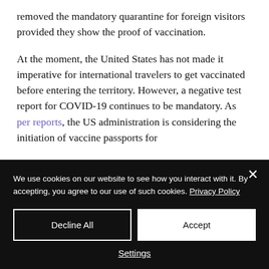removed the mandatory quarantine for foreign visitors provided they show the proof of vaccination.
At the moment, the United States has not made it imperative for international travelers to get vaccinated before entering the territory. However, a negative test report for COVID-19 continues to be mandatory. As per reports, the US administration is considering the initiation of vaccine passports for
We use cookies on our website to see how you interact with it. By accepting, you agree to our use of such cookies. Privacy Policy
Decline All
Accept
Settings